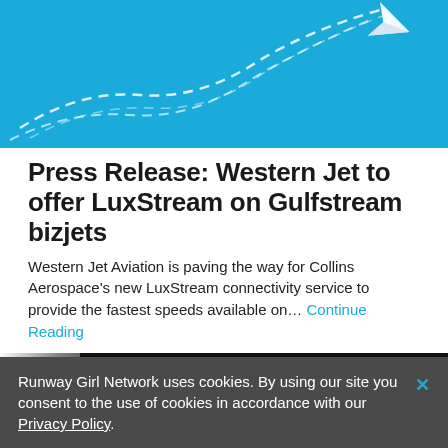[Figure (illustration): Blue banner with white dashed curved flight path lines and a white paper airplane icon in the upper right corner]
Press Release: Western Jet to offer LuxStream on Gulfstream bizjets
Western Jet Aviation is paving the way for Collins Aerospace's new LuxStream connectivity service to provide the fastest speeds available on… Continue Reading
[Figure (photo): Dark/black background photo strip with a bright light streak on the left and cursive teal text in the center]
Runway Girl Network uses cookies. By using our site you consent to the use of cookies in accordance with our Privacy Policy.